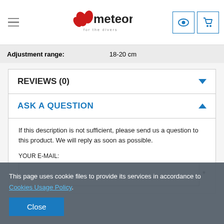Meteor — navigation header with logo, menu icon, eye icon, cart icon
Adjustment range: 18-20 cm
REVIEWS (0)
ASK A QUESTION
If this description is not sufficient, please send us a question to this product. We will reply as soon as possible.
YOUR E-MAIL:
This page uses cookie files to provide its services in accordance to Cookies Usage Policy.
Close